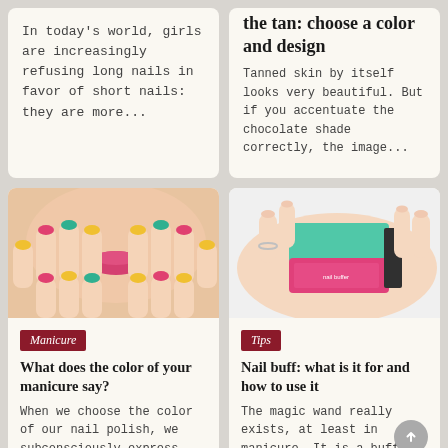In today's world, girls are increasingly refusing long nails in favor of short nails: they are more...
the tan: choose a color and design
Tanned skin by itself looks very beautiful. But if you accentuate the chocolate shade correctly, the image...
[Figure (photo): Close-up of a woman's face with colorful manicure nails (yellow, pink, teal) framing her lips]
Manicure
What does the color of your manicure say?
When we choose the color of our nail polish, we subconsciously express our inner state through it...
[Figure (photo): Hands holding a pink and teal nail buffer block]
Tips
Nail buff: what is it for and how to use it
The magic wand really exists, at least in manicure. It is a buff, as everybody...